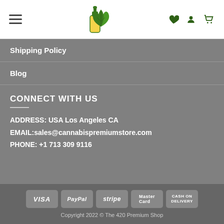[Figure (screenshot): Website header with hamburger menu on left, cannabis/CBD oil logo in center (green bottle with marijuana leaf), and icons (heart, user, cart) on right]
Shipping Policy
Blog
CONNECT WITH US
ADDRESS: USA Los Angeles CA
EMAIL:sales@cannabispremiumstore.com
PHONE: +1 713 309 9116
[Figure (logo): Payment method logos: VISA, PayPal, stripe, MasterCard, Cash on Delivery]
Copyright 2022 © The 420 Premium Shop